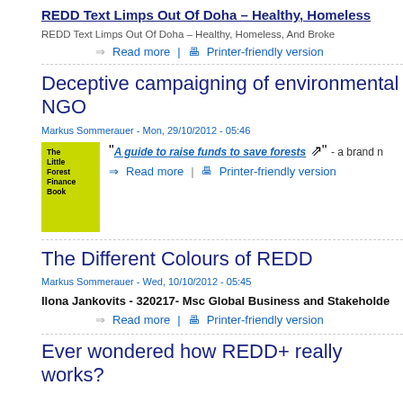REDD Text Limps Out Of Doha – Healthy, Homeless...
REDD Text Limps Out Of Doha – Healthy, Homeless, And Broke
⇒ Read more | 🖶 Printer-friendly version
Deceptive campaigning of environmental NGO...
Markus Sommerauer - Mon, 29/10/2012 - 05:46
[Figure (illustration): Yellow book cover titled 'The Little Forest Finance Book']
"A guide to raise funds to save forests" - a brand n...
⇒ Read more | 🖶 Printer-friendly version
The Different Colours of REDD
Markus Sommerauer - Wed, 10/10/2012 - 05:45
Ilona Jankovits - 320217- Msc Global Business and Stakeholde...
⇒ Read more | 🖶 Printer-friendly version
Ever wondered how REDD+ really works?